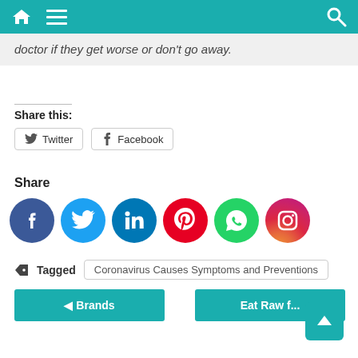Navigation bar with home, menu, and search icons
doctor if they get worse or don't go away.
Share this:
Twitter  Facebook
Share
[Figure (other): Social media icons row: Facebook, Twitter, LinkedIn, Pinterest, WhatsApp, Instagram]
Tagged  Coronavirus Causes Symptoms and Preventions
◄ Brands
Eat Raw f...